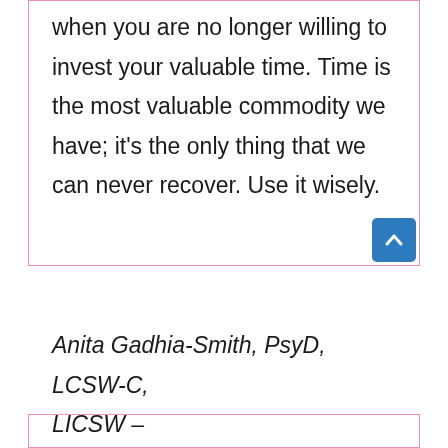when you are no longer willing to invest your valuable time. Time is the most valuable commodity we have; it's the only thing that we can never recover. Use it wisely.
Anita Gadhia-Smith, PsyD, LCSW-C, LICSW – www.drgadhiasmith.com